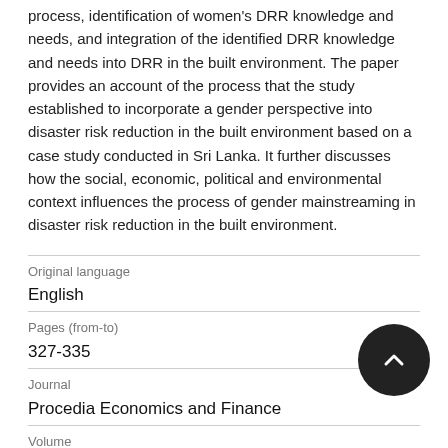process, identification of women's DRR knowledge and needs, and integration of the identified DRR knowledge and needs into DRR in the built environment. The paper provides an account of the process that the study established to incorporate a gender perspective into disaster risk reduction in the built environment based on a case study conducted in Sri Lanka. It further discusses how the social, economic, political and environmental context influences the process of gender mainstreaming in disaster risk reduction in the built environment.
| Field | Value |
| --- | --- |
| Original language | English |
| Pages (from-to) | 327-335 |
| Journal | Procedia Economics and Finance |
| Volume | 18 |
| Publication date |  |